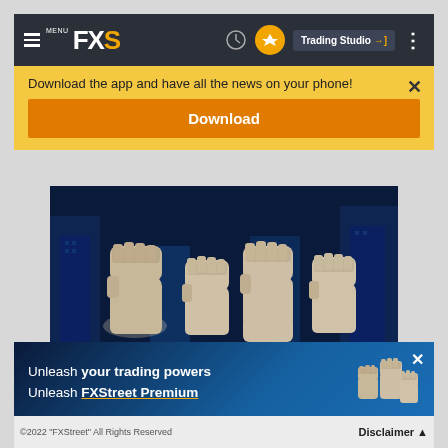MENU FXS | Trading Studio
Download the app and have all the news on your phone!
Download
[Figure (illustration): Multiple raised fists against a dark blue urban building background — promotional image for FXStreet Premium]
Unleash your trading powers Unleash FXStreet Premium
©2022 "FXStreet" All Rights Reserved   Disclaimer ▲